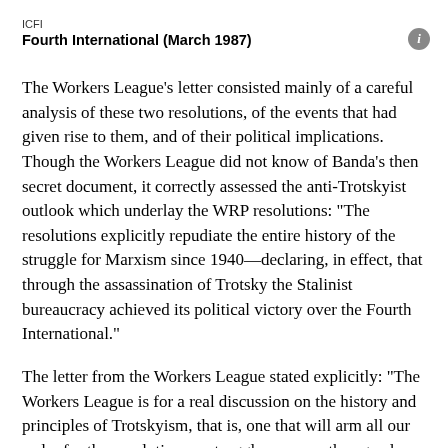ICFI
Fourth International (March 1987)
The Workers League’s letter consisted mainly of a careful analysis of these two resolutions, of the events that had given rise to them, and of their political implications. Though the Workers League did not know of Banda’s then secret document, it correctly assessed the anti-Trotskyist outlook which underlay the WRP resolutions: “The resolutions explicitly repudiate the entire history of the struggle for Marxism since 1940—declaring, in effect, that through the assassination of Trotsky the Stalinist bureaucracy achieved its political victory over the Fourth International.”
The letter from the Workers League stated explicitly: “The Workers League is for a real discussion on the history and principles of Trotskyism, that is, one that will arm all our cadre for the revolutionary struggles now on the agenda and which will produce real theoretical and